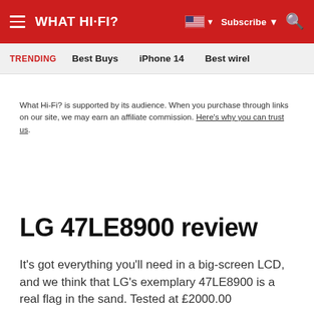WHAT HI-FI? | Subscribe | Search
TRENDING Best Buys iPhone 14 Best wirel…
What Hi-Fi? is supported by its audience. When you purchase through links on our site, we may earn an affiliate commission. Here's why you can trust us.
LG 47LE8900 review
It's got everything you'll need in a big-screen LCD, and we think that LG's exemplary 47LE8900 is a real flag in the sand. Tested at £2000.00